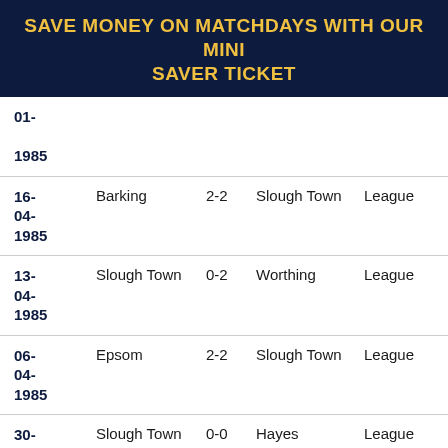SAVE MONEY ON MATCHDAYS WITH OUR MINI SAVER TICKET
| Date | Home | Score | Away | Competition |
| --- | --- | --- | --- | --- |
| 01-??-1985 |  |  |  |  |
| 16-04-1985 | Barking | 2-2 | Slough Town | League |
| 13-04-1985 | Slough Town | 0-2 | Worthing | League |
| 06-04-1985 | Epsom | 2-2 | Slough Town | League |
| 30-03-1985 | Slough Town | 0-0 | Hayes | League |
| 27-??-???? | Slough Town | 0-2 | Billerica... | League |